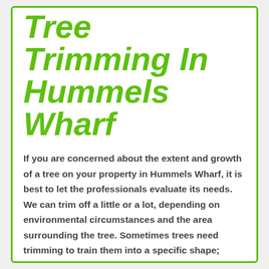Tree Trimming In Hummels Wharf
If you are concerned about the extent and growth of a tree on your property in Hummels Wharf, it is best to let the professionals evaluate its needs. We can trim off a little or a lot, depending on environmental circumstances and the area surrounding the tree. Sometimes trees need trimming to train them into a specific shape; sometimes they need trimming to contain excessive growth.